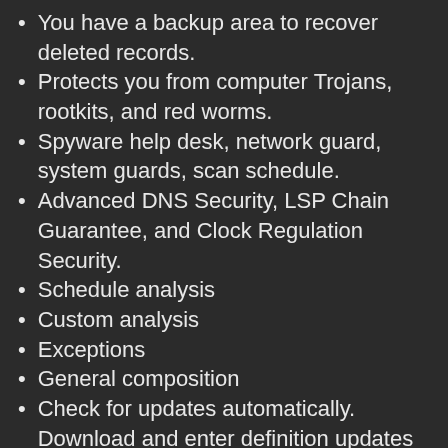You have a backup area to recover deleted records.
Protects you from computer Trojans, rootkits, and red worms.
Spyware help desk, network guard, system guards, scan schedule.
Advanced DNS Security, LSP Chain Guarantee, and Clock Regulation Security.
Schedule analysis
Custom analysis
Exceptions
General composition
Check for updates automatically. Download and enter definition updates normally
Run Security Suite on startup
Start scanning at startup. Determine the security group at startup.